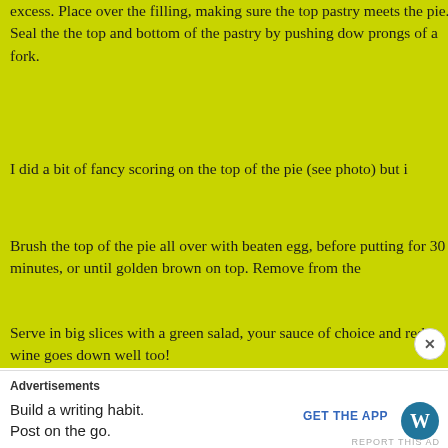excess. Place over the filling, making sure the top pastry meets the pie. Seal the the top and bottom of the pastry by pushing down with the prongs of a fork.
I did a bit of fancy scoring on the top of the pie (see photo) but it
Brush the top of the pie all over with beaten egg, before putting for 30 minutes, or until golden brown on top. Remove from the
Serve in big slices with a green salad, your sauce of choice and red wine goes down well too!
[Figure (photo): Close-up photo of a pie slice served with green salad leaves, showing golden-brown pastry and filling]
Advertisements
Build a writing habit.
Post on the go.
GET THE APP